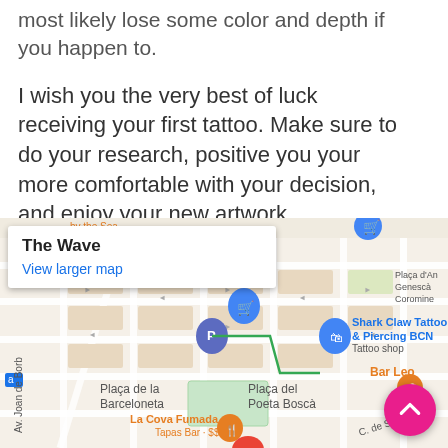most likely lose some color and depth if you happen to.
I wish you the very best of luck receiving your first tattoo. Make sure to do your research, positive you your more comfortable with your decision, and enjoy your new artwork.
[Figure (map): Google Maps screenshot showing Barceloneta neighborhood in Barcelona, with markers for Shark Claw Tattoo & Piercing BCN, La Cova Fumada (Tapas Bar), Bar Leo, The Wave location popup, and other nearby points of interest including Plaça de la Barceloneta and Plaça del Poeta Boscà.]